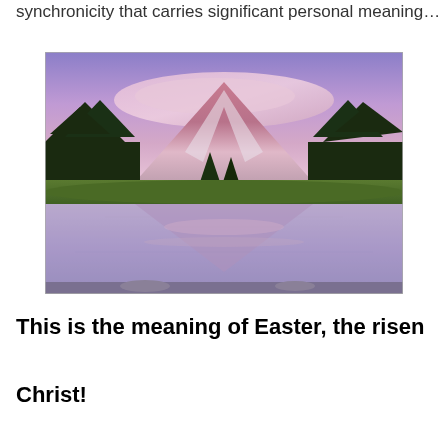synchronicity that carries significant personal meaning…
[Figure (photo): A scenic mountain landscape at dusk/dawn with pink and purple clouds above a snow-capped peak, conifer trees in the foreground, and a calm lake reflecting the mountain and sky below.]
This is the meaning of Easter, the risen Christ!